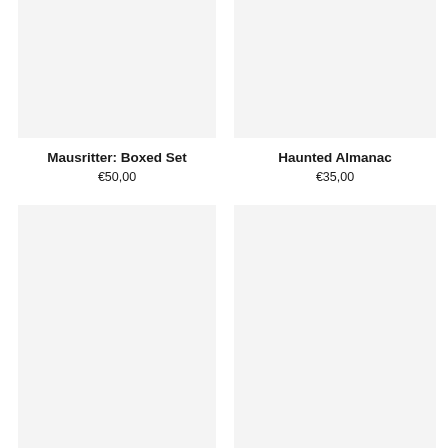[Figure (photo): Product image placeholder for Mausritter: Boxed Set, light gray background]
Mausritter: Boxed Set
€50,00
[Figure (photo): Product image placeholder for Haunted Almanac, light gray background]
Haunted Almanac
€35,00
[Figure (photo): Product image placeholder, bottom left, light gray background]
[Figure (photo): Product image placeholder, bottom right, light gray background]